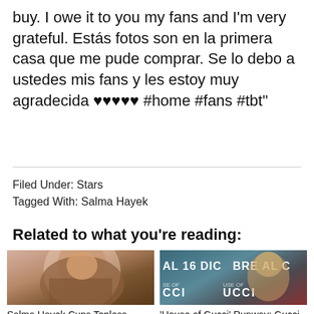buy. I owe it to you my fans and I'm very grateful. Estás fotos son en la primera casa que me pude comprar. Se lo debo a ustedes mis fans y les estoy muy agradecida ♥♥♥♥♥ #home #fans #tbt"
Filed Under: Stars
Tagged With: Salma Hayek
Related to what you're reading:
Salma Hayek Cups Topless Assets In Photo Taken By
'House of Gucci' Runway: Gucci Hotdog With Mustard